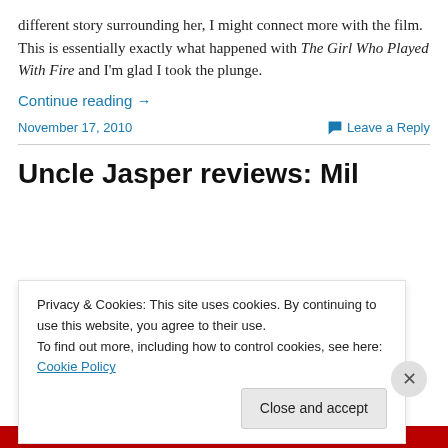different story surrounding her, I might connect more with the film. This is essentially exactly what happened with The Girl Who Played With Fire and I'm glad I took the plunge.
Continue reading →
November 17, 2010   Leave a Reply
Uncle Jasper reviews: Mil
Privacy & Cookies: This site uses cookies. By continuing to use this website, you agree to their use.
To find out more, including how to control cookies, see here: Cookie Policy
Close and accept